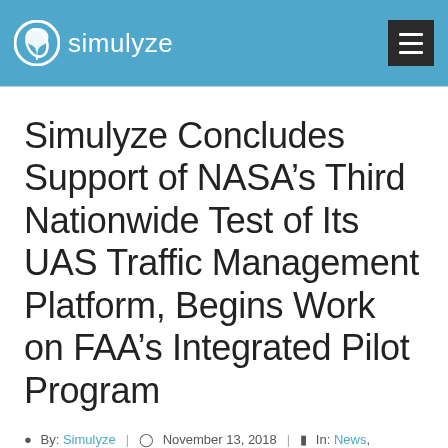simulyze
Simulyze Concludes Support of NASA’s Third Nationwide Test of Its UAS Traffic Management Platform, Begins Work on FAA’s Integrated Pilot Program
By: Simulyze | November 13, 2018 | In: News,